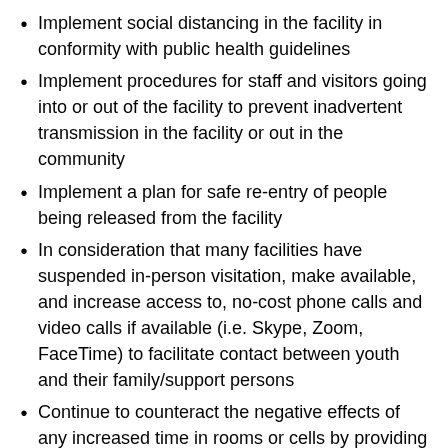Implement social distancing in the facility in conformity with public health guidelines
Implement procedures for staff and visitors going into or out of the facility to prevent inadvertent transmission in the facility or out in the community
Implement a plan for safe re-entry of people being released from the facility
In consideration that many facilities have suspended in-person visitation, make available, and increase access to, no-cost phone calls and video calls if available (i.e. Skype, Zoom, FaceTime) to facilitate contact between youth and their family/support persons
Continue to counteract the negative effects of any increased time in rooms or cells by providing access to tablets, laptops, games, books, video exercise programs and other individual activities; provide significant time out of rooms or cells for recreation,